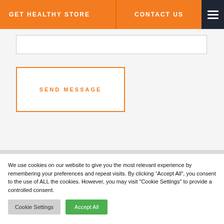Get Healthy Store | CONTACT US
[Figure (screenshot): Text input field box (white rectangle with border)]
SEND MESSAGE
We use cookies on our website to give you the most relevant experience by remembering your preferences and repeat visits. By clicking “Accept All”, you consent to the use of ALL the cookies. However, you may visit "Cookie Settings" to provide a controlled consent.
Cookie Settings | Accept All